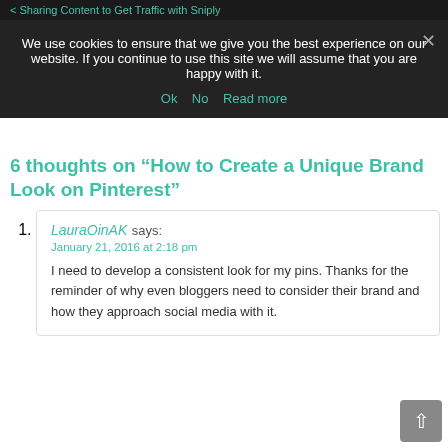< Sharing Content to Get Traffic with Sniply
We use cookies to ensure that we give you the best experience on our website. If you continue to use this site we will assume that you are happy with it.
Ok   No   Read more
6 thoughts on "How to Create a Unique Brand Look on Pinterest"
LauraOinAK says:
January 21, 2016 at 2:18 pm
I need to develop a consistent look for my pins. Thanks for the reminder of why even bloggers need to consider their brand and how they approach social media with it.